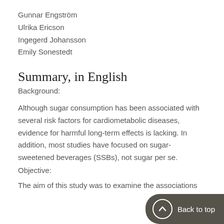Gunnar Engström
Ulrika Ericson
Ingegerd Johansson
Emily Sonestedt
Summary, in English
Background:
Although sugar consumption has been associated with several risk factors for cardiometabolic diseases, evidence for harmful long-term effects is lacking. In addition, most studies have focused on sugar-sweetened beverages (SSBs), not sugar per se.
Objective:
The aim of this study was to examine the associations